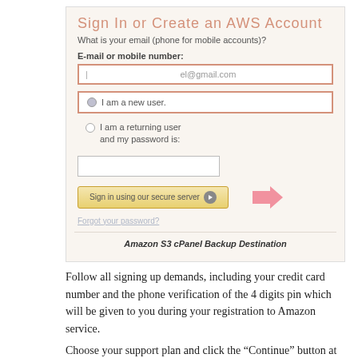[Figure (screenshot): Screenshot of the AWS 'Sign In or Create an AWS Account' page showing an email field with 'el@gmail.com', a selected 'I am a new user.' radio option with red border highlight, an unselected 'I am a returning user and my password is:' option with a password field, a 'Sign in using our secure server' button with a pink arrow pointing to it, and a 'Forgot your password?' link. Below is a caption 'Amazon S3 cPanel Backup Destination'.]
Amazon S3 cPanel Backup Destination
Follow all signing up demands, including your credit card number and the phone verification of the 4 digits pin which will be given to you during your registration to Amazon service.
Choose your support plan and click the “Continue” button at